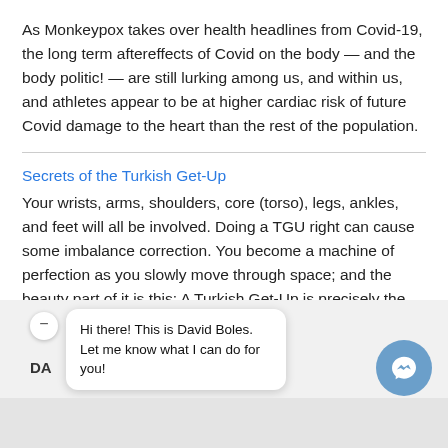As Monkeypox takes over health headlines from Covid-19, the long term aftereffects of Covid on the body — and the body politic! — are still lurking among us, and within us, and athletes appear to be at higher cardiac risk of future Covid damage to the heart than the rest of the population.
Secrets of the Turkish Get-Up
Your wrists, arms, shoulders, core (torso), legs, ankles, and feet will all be involved. Doing a TGU right can cause some imbalance correction. You become a machine of perfection as you slowly move through space; and the beauty part of it is this: A Turkish Get-Up is precisely the one movement you want to perfect [...]
[Figure (screenshot): Chat widget overlay showing a minimize button, 'DA' label, a white speech bubble with text 'Hi there! This is David Boles. Let me know what I can do for you!', a blue circular messenger icon, and a grey input area at the bottom.]